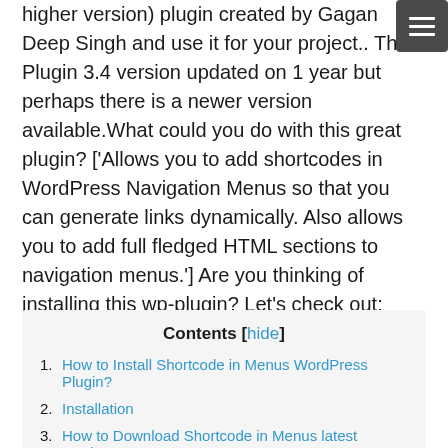higher version) plugin created by Gagan Deep Singh and use it for your project.. This Plugin 3.4 version updated on 1 year but perhaps there is a newer version available.What could you do with this great plugin? ['Allows you to add shortcodes in WordPress Navigation Menus so that you can generate links dynamically. Also allows you to add full fledged HTML sections to navigation menus.'] Are you thinking of installing this wp-plugin? Let's check out:
1. How to Install Shortcode in Menus WordPress Plugin?
2. Installation
3. How to Download Shortcode in Menus latest version